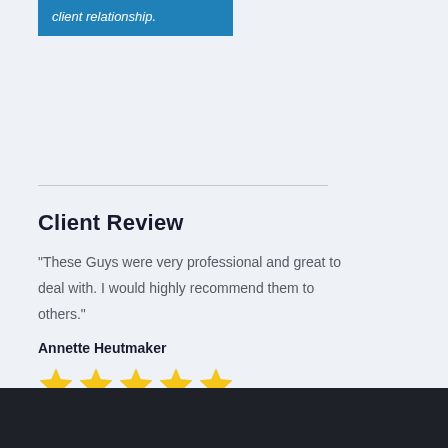client relationship.
Client Review
"These Guys were very professional and great to deal with. I would highly recommend them to others."
Annette Heutmaker
[Figure (illustration): Five gold/yellow star rating icons displayed in a row]